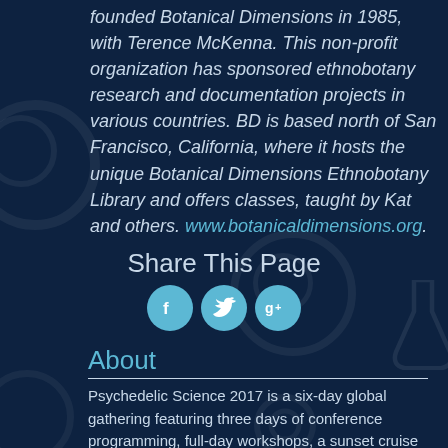founded Botanical Dimensions in 1985, with Terence McKenna. This non-profit organization has sponsored ethnobotany research and documentation projects in various countries. BD is based north of San Francisco, California, where it hosts the unique Botanical Dimensions Ethnobotany Library and offers classes, taught by Kat and others. www.botanicaldimensions.org.
Share This Page
[Figure (other): Social media share icons: Facebook (f), Twitter (bird), Google+ (g+) as cyan circular buttons]
About
Psychedelic Science 2017 is a six-day global gathering featuring three days of conference programming, full-day workshops, a sunset cruise on the San Francisco Bay, a comedy banquet, a free marketplace of goods and ideas, and much